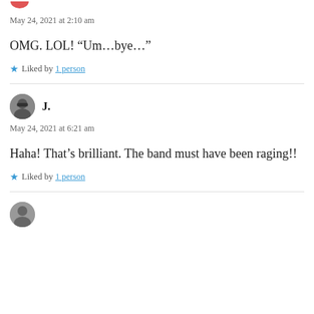May 24, 2021 at 2:10 am
OMG. LOL! “Um…bye…”
★ Liked by 1 person
J.
May 24, 2021 at 6:21 am
Haha! That’s brilliant. The band must have been raging!!
★ Liked by 1 person